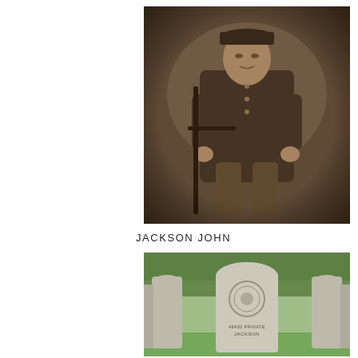[Figure (photo): Sepia/black-and-white portrait photograph of a young man in World War I British military uniform, seated and holding onto a railing or post. He wears a military cap and his uniform has several buttons visible. The background appears to be a painted studio backdrop.]
JACKSON JOHN
[Figure (photo): Colour photograph of a Commonwealth War Graves Commission headstone in a military cemetery. The headstone is made of white/grey stone with a regimental badge carved in relief. Text on the stone reads '46432 PRIVATE JACKSON'. Adjacent headstones are visible on either side, and green trees/foliage appear in the background.]